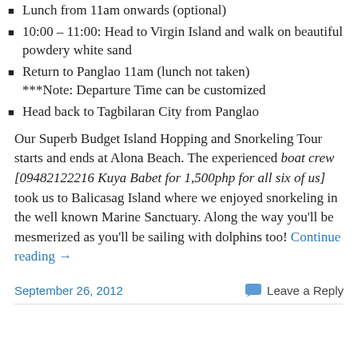Lunch from 11am onwards (optional)
10:00 – 11:00: Head to Virgin Island and walk on beautiful powdery white sand
Return to Panglao 11am (lunch not taken)
***Note: Departure Time can be customized
Head back to Tagbilaran City from Panglao
Our Superb Budget Island Hopping and Snorkeling Tour starts and ends at Alona Beach. The experienced boat crew [09482122216 Kuya Babet for 1,500php for all six of us] took us to Balicasag Island where we enjoyed snorkeling in the well known Marine Sanctuary. Along the way you'll be mesmerized as you'll be sailing with dolphins too! Continue reading →
September 26, 2012    Leave a Reply